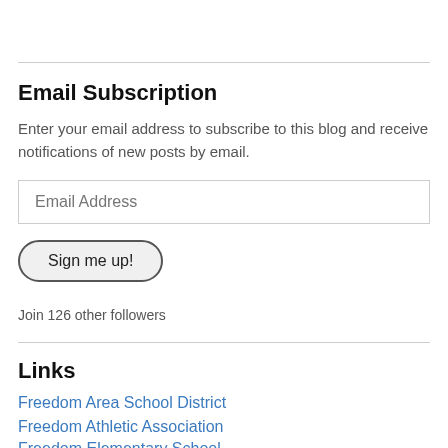Email Subscription
Enter your email address to subscribe to this blog and receive notifications of new posts by email.
Email Address
Sign me up!
Join 126 other followers
Links
Freedom Area School District
Freedom Athletic Association
Freedom Elementary School